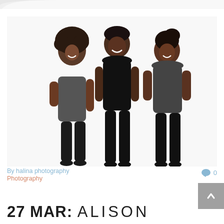[Figure (photo): Three young women/girls in black dancewear posing against a white studio background, smiling at the camera]
By halina photography
Photography
0
27 MAR: ALISON